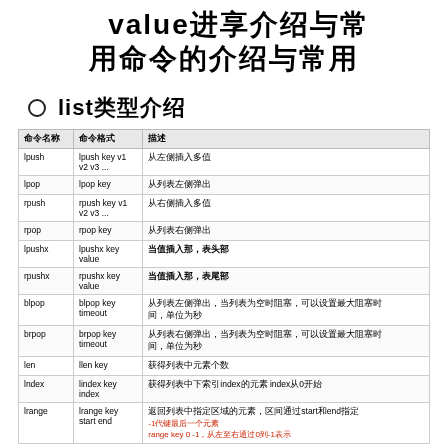value类型的介绍与常用命令
list类型介绍
| 命令名称 | 命令格式 | 描述 |
| --- | --- | --- |
| lpush | lpush key v1 v2 v3 ... | 从左侧插入多值 |
| lpop | lpop key | 从列表左侧弹出 |
| rpush | rpush key v1 v2 v3 ... | 从右侧插入多值 |
| rpop | rpop key | 从列表右侧弹出 |
| lpushx | lpushx key value | 当值插入那，表头部 |
| rpushx | rpushx key value | 当值插入那，表尾部 |
| blpop | blpop key timeout | 从列表左侧弹出，当列表为空时阻塞，可以设置最大阻塞时间，单位为秒 |
| brpop | brpop key timeout | 从列表右侧弹出，当列表为空时阻塞，可以设置最大阻塞时间，单位为秒 |
| len | llen key | 获得列表中元素个数 |
| lndex | lindex key index | 获得列表中下索引index的元素 index从0开始 |
| lrange | lrange key start end | 返回列表中指定区域的元素，区间通过start和end指定，range key 0 -1，从左至右通过0到-1表示 |